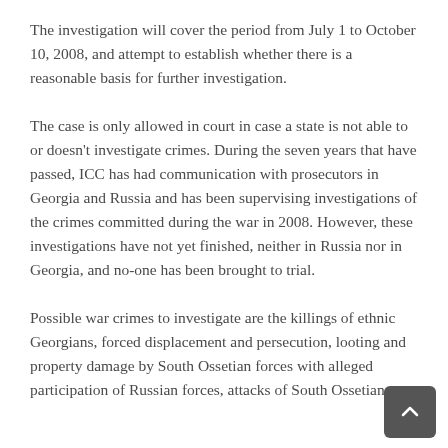The investigation will cover the period from July 1 to October 10, 2008, and attempt to establish whether there is a reasonable basis for further investigation.
The case is only allowed in court in case a state is not able to or doesn't investigate crimes. During the seven years that have passed, ICC has had communication with prosecutors in Georgia and Russia and has been supervising investigations of the crimes committed during the war in 2008. However, these investigations have not yet finished, neither in Russia nor in Georgia, and no-one has been brought to trial.
Possible war crimes to investigate are the killings of ethnic Georgians, forced displacement and persecution, looting and property damage by South Ossetian forces with alleged participation of Russian forces, attacks of South Ossetian